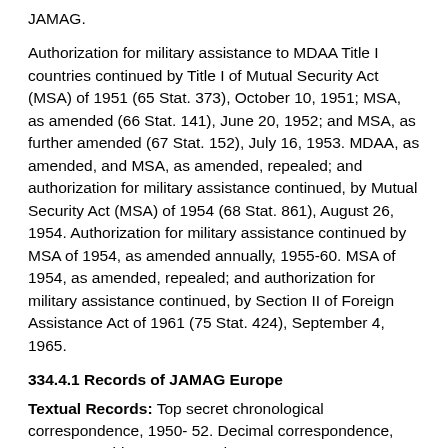JAMAG.
Authorization for military assistance to MDAA Title I countries continued by Title I of Mutual Security Act (MSA) of 1951 (65 Stat. 373), October 10, 1951; MSA, as amended (66 Stat. 141), June 20, 1952; and MSA, as further amended (67 Stat. 152), July 16, 1953. MDAA, as amended, and MSA, as amended, repealed; and authorization for military assistance continued, by Mutual Security Act (MSA) of 1954 (68 Stat. 861), August 26, 1954. Authorization for military assistance continued by MSA of 1954, as amended annually, 1955-60. MSA of 1954, as amended, repealed; and authorization for military assistance continued, by Section II of Foreign Assistance Act of 1961 (75 Stat. 424), September 4, 1965.
334.4.1 Records of JAMAG Europe
Textual Records: Top secret chronological correspondence, 1950-52. Decimal correspondence, 1950-52. Subject correspondence, 1949-51. Issuances, 1949-53. Incoming and outgoing messages, including those of a predecessor at Headquarters EUCOM, the United States Delegation to the